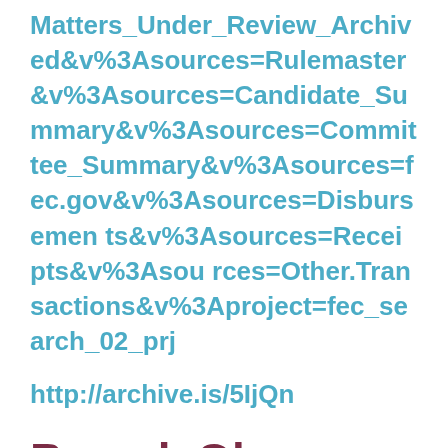Matters_Under_Review_Archived&v%3Asources=Rulemaster&v%3Asources=Candidate_Summary&v%3Asources=Committee_Summary&v%3Asources=fec.gov&v%3Asources=Disbursements&v%3Asources=Receipts&v%3Asources=Other.Transactions&v%3Aproject=fec_search_02_prj
http://archive.is/5IjQn
Barack Obama
Here is a photo Alefantis posted showing Obama playing ping pong with